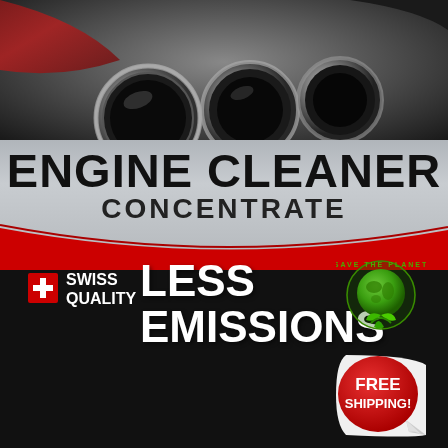[Figure (photo): Close-up photo of car exhaust pipes, metallic chrome tubes with red car body visible]
ENGINE CLEANER
CONCENTRATE
LESS EMISSIONS
[Figure (logo): Swiss Quality badge with red Swiss cross flag and text SWISS QUALITY]
[Figure (logo): Save the Planet circular badge with globe and green leaves]
[Figure (other): FREE SHIPPING! red sticker badge with peeling corner effect]